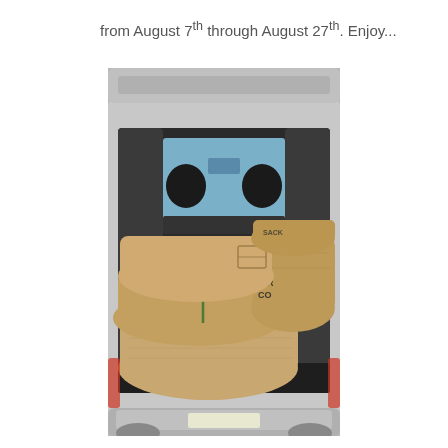from August 7th through August 27th. Enjoy...
[Figure (photo): A car (SUV/minivan) with its rear hatch open, the cargo area fully loaded with large burlap sacks of green coffee beans. Several sacks are stacked and visible with partial text 'GREEN COFFEE' printed on them. The vehicle interior shows front seats and dashboard visible through the rear window.]